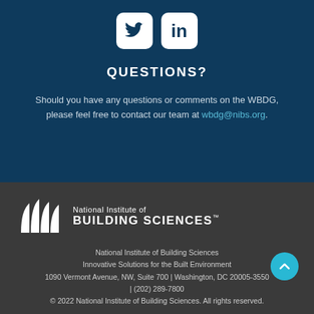[Figure (logo): Twitter and LinkedIn social media icons in white rounded square boxes on dark blue background]
QUESTIONS?
Should you have any questions or comments on the WBDG, please feel free to contact our team at wbdg@nibs.org.
[Figure (logo): National Institute of Building Sciences logo with stylized arch/wave graphic and wordmark]
National Institute of Building Sciences
Innovative Solutions for the Built Environment
1090 Vermont Avenue, NW, Suite 700 | Washington, DC 20005-3550 | (202) 289-7800
© 2022 National Institute of Building Sciences. All rights reserved.